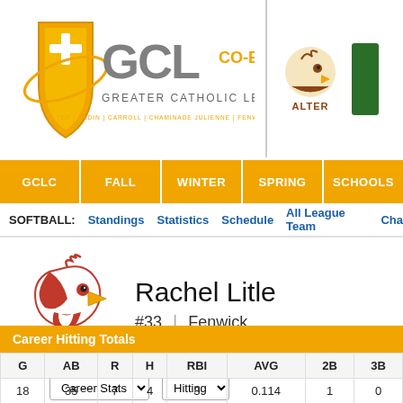[Figure (logo): GCL Co-Ed Greater Catholic League logo with shield and orbit symbol. Tagline: ALTER | BADIN | CARROLL | CHAMINADE JULIENNE | FENWICK | MCNICHOLAS]
[Figure (logo): Alter High School hawk logo and a green school logo (partially visible)]
GCLC | FALL | WINTER | SPRING | SCHOOLS
SOFTBALL: Standings  Statistics  Schedule  All League Team  Cha…
Rachel Litle
#33  |  Fenwick
Career Stats  Hitting
| G | AB | R | H | RBI | AVG | 2B | 3B |
| --- | --- | --- | --- | --- | --- | --- | --- |
| 18 | 35 | 7 | 4 | 3 | 0.114 | 1 | 0 |